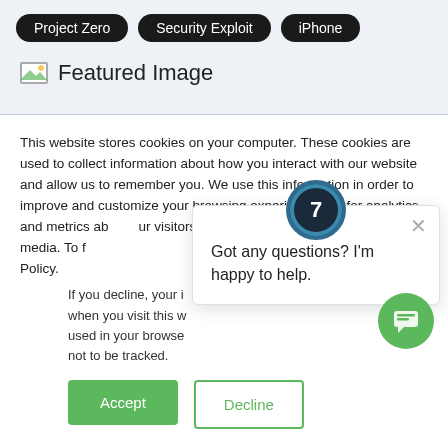Project Zero
Security Exploit
iPhone
[Figure (other): Featured Image placeholder with broken image icon]
This website stores cookies on your computer. These cookies are used to collect information about how you interact with our website and allow us to remember you. We use this information in order to improve and customize your browsing experience and for analytics and metrics about our visitors both on this website and other media. To f our Privacy Policy.
If you decline, your i when you visit this w used in your browse not to be tracked.
[Figure (other): Chat popup widget with number 7 badge circle and text: Got any questions? I'm happy to help. With close X button.]
Got any questions? I'm happy to help.
Accept
Decline